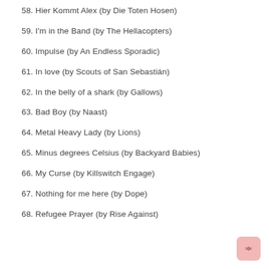58. Hier Kommt Alex (by Die Toten Hosen)
59. I'm in the Band (by The Hellacopters)
60. Impulse (by An Endless Sporadic)
61. In love (by Scouts of San Sebastián)
62. In the belly of a shark (by Gallows)
63. Bad Boy (by Naast)
64. Metal Heavy Lady (by Lions)
65. Minus degrees Celsius (by Backyard Babies)
66. My Curse (by Killswitch Engage)
67. Nothing for me here (by Dope)
68. Refugee Prayer (by Rise Against)